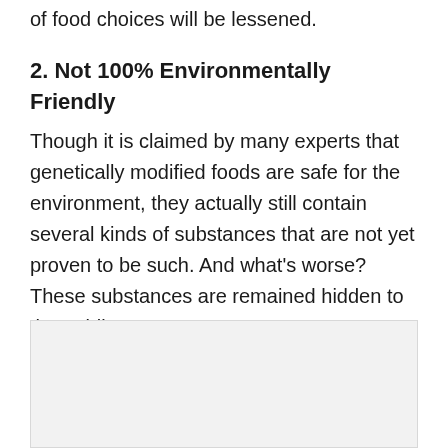of food choices will be lessened.
2. Not 100% Environmentally Friendly
Though it is claimed by many experts that genetically modified foods are safe for the environment, they actually still contain several kinds of substances that are not yet proven to be such. And what’s worse? These substances are remained hidden to the public.
[Figure (photo): Light gray rectangular image placeholder at the bottom of the page]